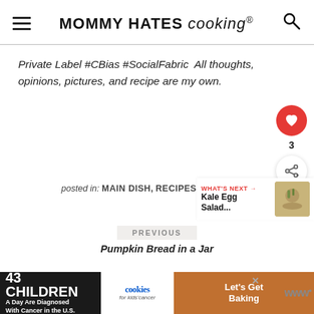MOMMY HATES cooking®
Private Label #CBias #SocialFabric  All thoughts, opinions, pictures, and recipe are my own.
posted in: MAIN DISH, RECIPES
WHAT'S NEXT → Kale Egg Salad...
PREVIOUS
Pumpkin Bread in a Jar
43 CHILDREN A Day Are Diagnosed With Cancer in the U.S.  cookies for kids' cancer  Let's Get Baking